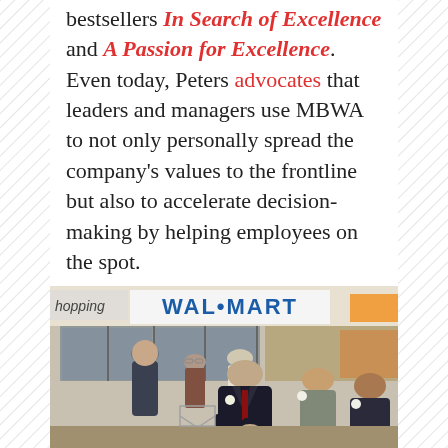bestsellers In Search of Excellence and A Passion for Excellence. Even today, Peters advocates that leaders and managers use MBWA to not only personally spread the company's values to the frontline but also to accelerate decision-making by helping employees on the spot.
[Figure (photo): Black and white photograph taken inside a Wal-Mart store. A group of people are standing together. In the foreground is an older man in a dark suit with a boutonnière, appearing to be Sam Walton. Several other people including staff with corsages are visible behind him. The Wal-Mart sign is visible in the background along with shopping carts and store interior.]